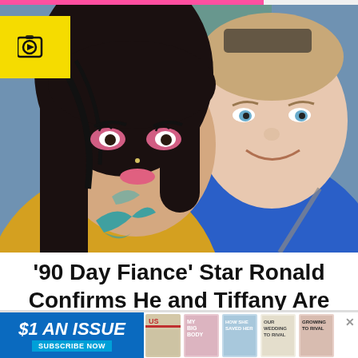[Figure (photo): Couple selfie photo: a woman with dark hair, pink eyeshadow makeup, tattoos on shoulder, wearing yellow top, and a man in a blue polo shirt, both sitting in a car. A yellow video badge with a camera icon is in the top-left corner of the photo.]
'90 Day Fiance' Star Ronald Confirms He and Tiffany Are Back Together
[Figure (infographic): Advertisement banner: '$1 AN ISSUE' text in white italic on blue background with 'SUBSCRIBE NOW' button, followed by magazine cover thumbnails for Us Weekly and other celebrity magazines. Close X button in top right.]